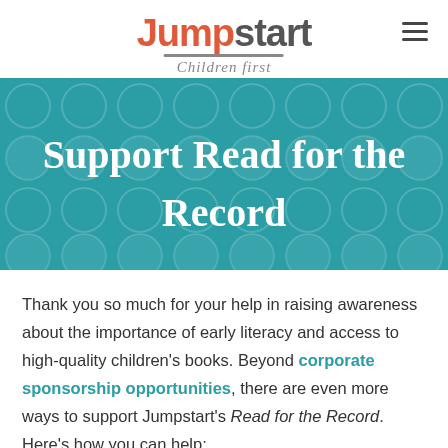Jumpstart Children first
Support Read for the Record
Thank you so much for your help in raising awareness about the importance of early literacy and access to high-quality children's books. Beyond corporate sponsorship opportunities, there are even more ways to support Jumpstart's Read for the Record. Here's how you can help: